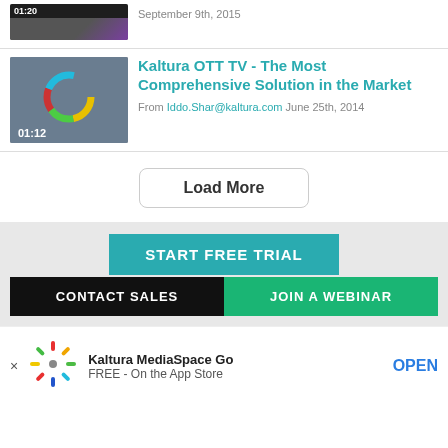[Figure (screenshot): Video thumbnail with timestamp 01:20 and colored top bar]
September 9th, 2015
[Figure (screenshot): Video thumbnail with circular color chart graphic and timestamp 01:12]
Kaltura OTT TV - The Most Comprehensive Solution in the Market
From Iddo.Shar@kaltura.com June 25th, 2014
Load More
START FREE TRIAL
CONTACT SALES
JOIN A WEBINAR
[Figure (logo): Kaltura MediaSpace Go app icon with colorful spokes]
Kaltura MediaSpace Go
FREE - On the App Store
OPEN